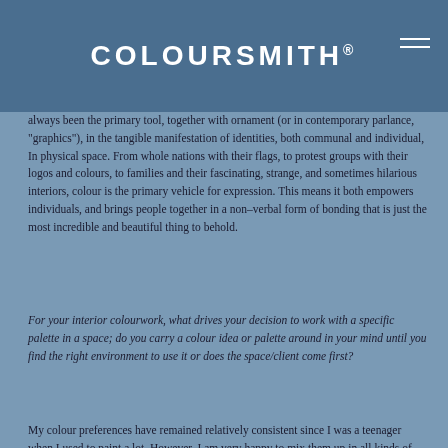COLOURSMITH®
always been the primary tool, together with ornament (or in contemporary parlance, "graphics"), in the tangible manifestation of identities, both communal and individual, In physical space. From whole nations with their flags, to protest groups with their logos and colours, to families and their fascinating, strange, and sometimes hilarious interiors, colour is the primary vehicle for expression. This means it both empowers individuals, and brings people together in a non–verbal form of bonding that is just the most incredible and beautiful thing to behold.
For your interior colourwork, what drives your decision to work with a specific palette in a space; do you carry a colour idea or palette around in your mind until you find the right environment to use it or does the space/client come first?
My colour preferences have remained relatively consistent since I was a teenager when I used to paint a lot. However, I am very happy to mix them up in all kinds of different ways, and when I approach a project, there is always a process of developing a specific set of colour combinations and tones with the client. This experience let for me the colour design intent